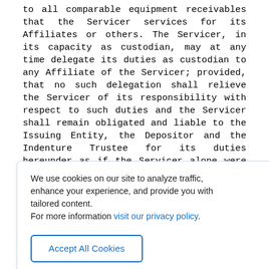to all comparable equipment receivables that the Servicer services for its Affiliates or others. The Servicer, in its capacity as custodian, may at any time delegate its duties as custodian to any Affiliate of the Servicer; provided, that no such delegation shall relieve the Servicer of its responsibility with respect to such duties and the Servicer shall remain obligated and liable to the Issuing Entity, the Depositor and the Indenture Trustee for its duties hereunder as if the Servicer alone were performing such duties. The Servicer shall conduct, or cause to be conducted, periodic audits of the Receivable Files and the related accounts, records and computer systems, in such a manner and at such times as the Issuing Entity, the [partially obscured] regularly [partially obscured] solely [partially obscured] cause [partially obscured] negligence [partially obscured] or willful [partially obscured] misconduct [partially obscured] [partially obscured] t, [partially obscured] s, [partially obscured] d [partially obscured] h failure. Nothing herein shall be deemed to require an
[Figure (screenshot): Cookie consent banner overlay on legal document page. Contains text: 'We use cookies on our site to analyze traffic, enhance your experience, and provide you with tailored content. For more information visit our privacy policy.' with an 'Accept All Cookies' button.]